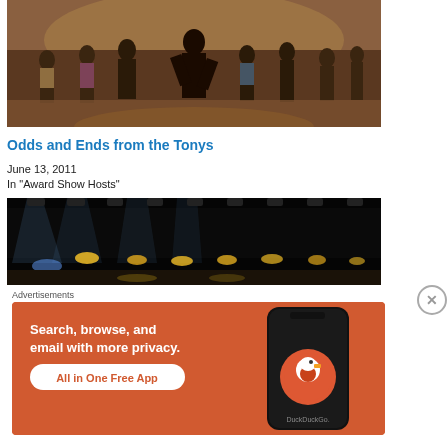[Figure (photo): Theater performance photo showing dancers on stage, musical theater cast in colorful costumes]
Odds and Ends from the Tonys
June 13, 2011
In "Award Show Hosts"
[Figure (photo): Stage photo with dramatic lighting, yellow and blue stage lights visible on dark stage]
Advertisements
[Figure (infographic): DuckDuckGo advertisement: Search, browse, and email with more privacy. All in One Free App. Shows DuckDuckGo logo on a smartphone.]